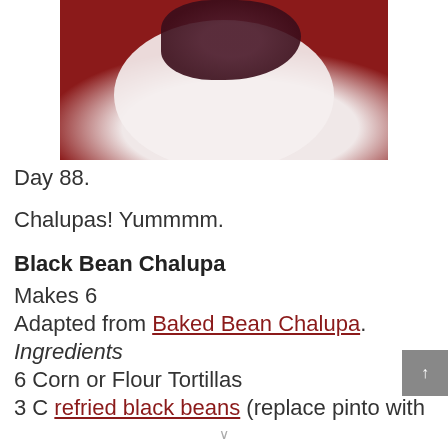[Figure (photo): Photo of a chalupa on a plate with dark bean topping on a red surface, partially cropped at top of page]
Day 88.
Chalupas! Yummmm.
Black Bean Chalupa
Makes 6
Adapted from Baked Bean Chalupa.
Ingredients
6 Corn or Flour Tortillas
3 C refried black beans (replace pinto with